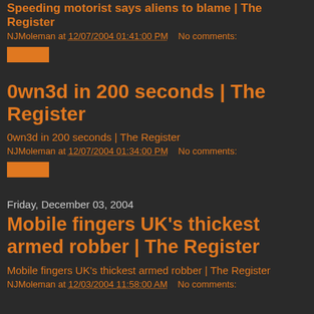Speeding motorist says aliens to blame | The Register
NJMoleman at 12/07/2004 01:41:00 PM   No comments:
[Figure (other): Orange button/badge element]
0wn3d in 200 seconds | The Register
0wn3d in 200 seconds | The Register
NJMoleman at 12/07/2004 01:34:00 PM   No comments:
[Figure (other): Orange button/badge element]
Friday, December 03, 2004
Mobile fingers UK's thickest armed robber | The Register
Mobile fingers UK's thickest armed robber | The Register
NJMoleman at 12/03/2004 11:58:00 AM   No comments: